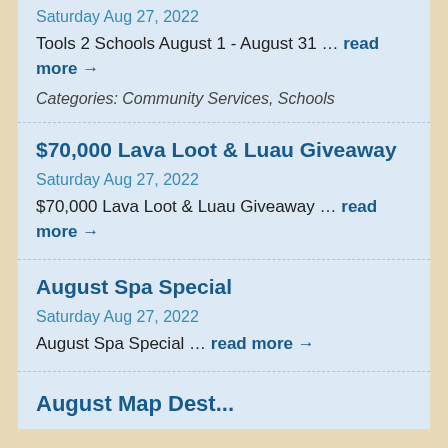Saturday Aug 27, 2022
Tools 2 Schools August 1 - August 31 ... read more →
Categories: Community Services, Schools
$70,000 Lava Loot & Luau Giveaway
Saturday Aug 27, 2022
$70,000 Lava Loot & Luau Giveaway ... read more →
August Spa Special
Saturday Aug 27, 2022
August Spa Special ... read more →
August Map Dest...